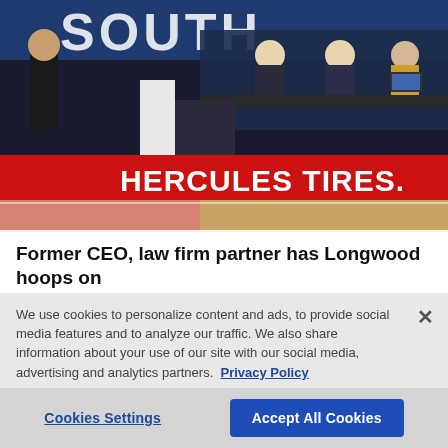[Figure (photo): Basketball court photo showing players and coaches near the sideline bench area. A red LED advertising board reads 'HERCULES TIRES.' in large white letters. The court floor is visible with pink markings. Background shows arena seating and officials at a scorer's table.]
Former CEO, law firm partner has Longwood hoops on
We use cookies to personalize content and ads, to provide social media features and to analyze our traffic. We also share information about your use of our site with our social media, advertising and analytics partners. Privacy Policy
Cookies Settings
Accept All Cookies